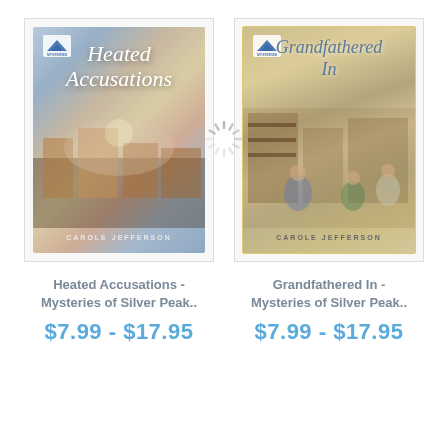[Figure (illustration): Book cover of 'Heated Accusations - Mysteries of Silver Peak' by Carole Jefferson, showing a town street scene with dramatic sky]
[Figure (illustration): Book cover of 'Grandfathered In - Mysteries of Silver Peak' by Carole Jefferson, showing people in an antique shop]
Heated Accusations - Mysteries of Silver Peak..
Grandfathered In - Mysteries of Silver Peak..
$7.99 - $17.95
$7.99 - $17.95